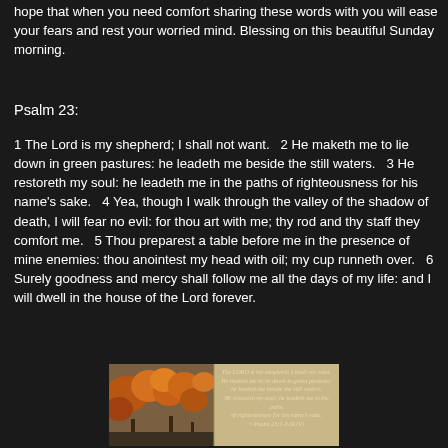hope that when you need comfort sharing these words with you will ease your fears and rest your worried mind. Blessing on this beautiful Sunday morning.
Psalm 23:
1 The Lord is my shepherd; I shall not want.   2 He maketh me to lie down in green pastures: he leadeth me beside the still waters.   3 He restoreth my soul: he leadeth me in the paths of righteousness for his name's sake.   4 Yea, though I walk through the valley of the shadow of death, I will fear no evil: for thou art with me; thy rod and thy staff they comfort me.   5 Thou preparest a table before me in the presence of mine enemies: thou anointest my head with oil; my cup runneth over.   6 Surely goodness and mercy shall follow me all the days of my life: and I will dwell in the house of the Lord forever.
[Figure (photo): Autumn forest scene with trees in fall colors on the left side, and an overlay of italic text on the right side containing the beginning of Psalm 23 (KJV): 'The LORD is my shepherd; I shall not want. He maketh me to lie down in green pastures: he leadeth me beside the still waters. He restoreth my soul; he leadeth me in the paths of righteousness for his name's sake. ~ Psalm 23:1-3 (KJV)']